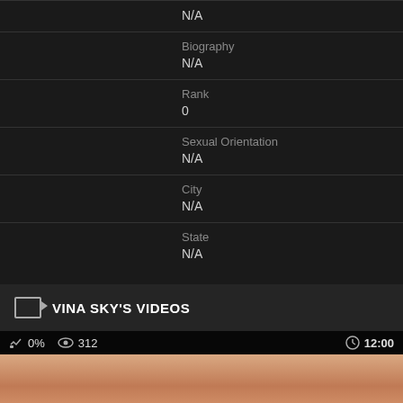N/A
Biography
N/A
Rank
0
Sexual Orientation
N/A
City
N/A
State
N/A
VINA SKY'S VIDEOS
0% 312 12:00